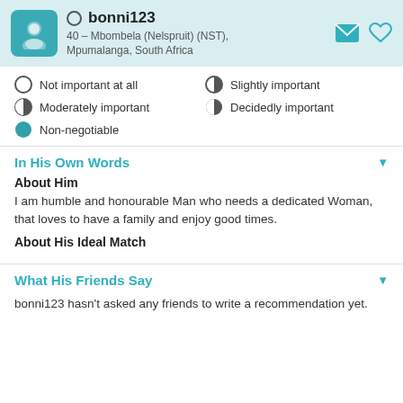bonni123 — 40 – Mbombela (Nelspruit) (NST), Mpumalanga, South Africa
Not important at all
Slightly important
Moderately important
Decidedly important
Non-negotiable
In His Own Words
About Him
I am humble and honourable Man who needs a dedicated Woman, that loves to have a family and enjoy good times.
About His Ideal Match
What His Friends Say
bonni123 hasn't asked any friends to write a recommendation yet.